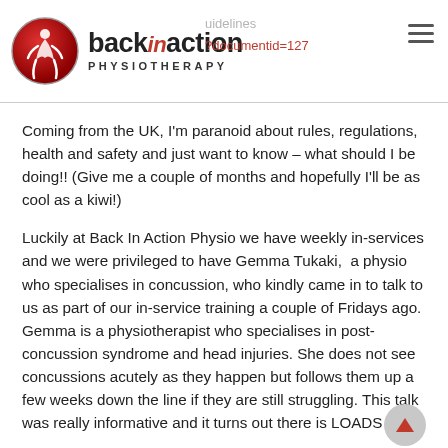back in action PHYSIOTHERAPY — uidelines ?documentid=127
Coming from the UK, I'm paranoid about rules, regulations, health and safety and just want to know – what should I be doing!! (Give me a couple of months and hopefully I'll be as cool as a kiwi!)
Luckily at Back In Action Physio we have weekly in-services and we were privileged to have Gemma Tukaki,  a physio who specialises in concussion, who kindly came in to talk to us as part of our in-service training a couple of Fridays ago. Gemma is a physiotherapist who specialises in post-concussion syndrome and head injuries. She does not see concussions acutely as they happen but follows them up a few weeks down the line if they are still struggling. This talk was really informative and it turns out there is LOADS to